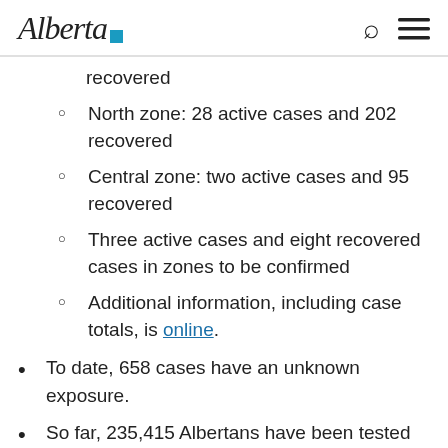Alberta [logo]
recovered
North zone: 28 active cases and 202 recovered
Central zone: two active cases and 95 recovered
Three active cases and eight recovered cases in zones to be confirmed
Additional information, including case totals, is online.
To date, 658 cases have an unknown exposure.
So far, 235,415 Albertans have been tested and labs have performed 260,365 tests, with 3,138 tests